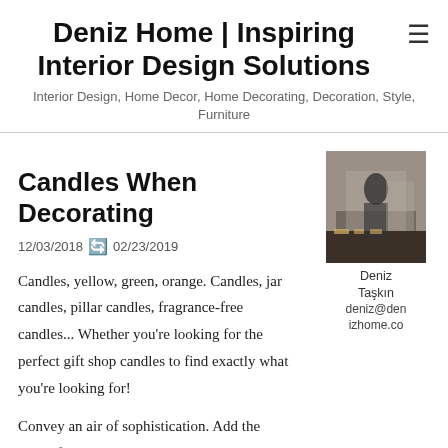Deniz Home | Inspiring Interior Design Solutions
Interior Design, Home Decor, Home Decorating, Decoration, Style, Furniture
Candles When Decorating
12/03/2018 🔄 02/23/2019
Candles, yellow, green, orange. Candles, jar candles, pillar candles, fragrance-free candles... Whether you're looking for the perfect gift shop candles to find exactly what you're looking for!
[Figure (photo): Author photo showing a person reflected in a mirror in a room with warm lighting and candles on shelves]
Deniz Taşkın
deniz@denizhome.co
Convey an air of sophistication. Add the secret fruit, all art, room ch...